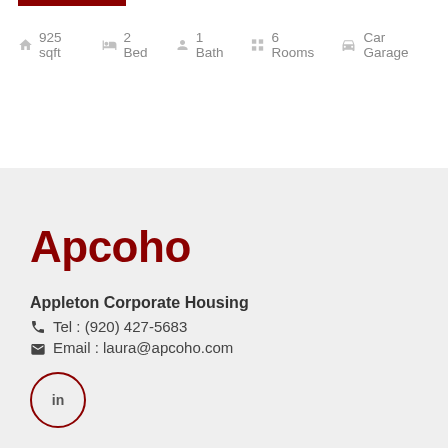925 sqft  2 Bed  1 Bath  6 Rooms  Car Garage
Apcoho
Appleton Corporate Housing
Tel : (920) 427-5683
Email : laura@apcoho.com
[Figure (logo): LinkedIn circular button icon with 'in' text, dark red border]